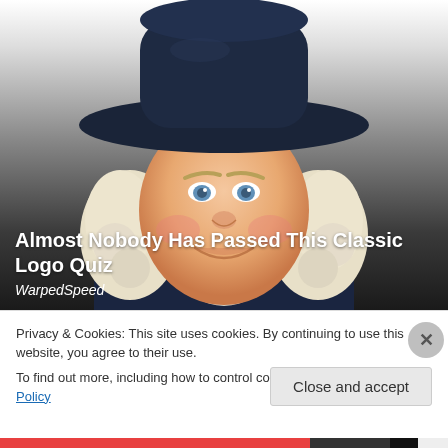[Figure (illustration): Illustration of the Quaker Oats man — a smiling, rosy-cheeked man with white curly hair wearing a dark wide-brimmed hat and dark colonial-era clothing with a white cravat, shown against a gradient background from white at top to dark grey/black at bottom.]
Almost Nobody Has Passed This Classic Logo Quiz
WarpedSpeed
Privacy & Cookies: This site uses cookies. By continuing to use this website, you agree to their use.
To find out more, including how to control cookies, see here: Cookie Policy